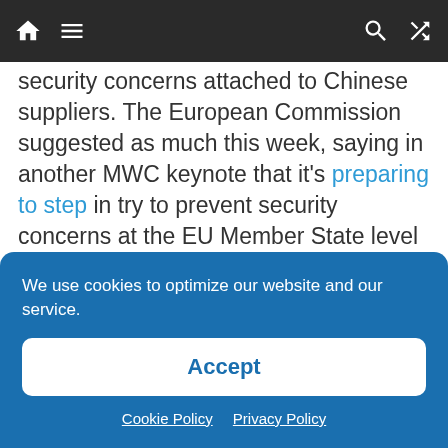[Navigation bar with home, menu, search, and shuffle icons]
security concerns attached to Chinese suppliers. The European Commission suggested as much this week, saying in another MWC keynote that it's preparing to step in try to prevent security concerns at the EU Member State level from fragmenting 5G rollouts across the bloc.
In an on stage Q&A Orange’s chairman and CEO, Stéphane Richard, couched the risk of destabilization of the 5G global supply chain as a
We use cookies to optimize our website and our service.
Accept
Cookie Policy   Privacy Policy